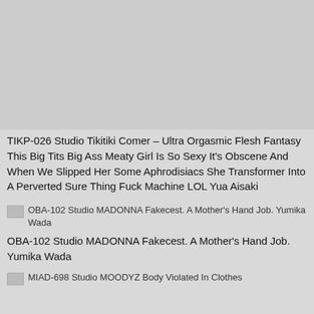[Figure (photo): DVD cover image for TIKP-026 Studio Tikitiki Comer adult video product]
TIKP-026 Studio Tikitiki Comer – Ultra Orgasmic Flesh Fantasy This Big Tits Big Ass Meaty Girl Is So Sexy It's Obscene And When We Slipped Her Some Aphrodisiacs She Transformer Into A Perverted Sure Thing Fuck Machine LOL Yua Aisaki
[Figure (photo): Thumbnail image for OBA-102 Studio MADONNA listing]
OBA-102 Studio MADONNA Fakecest. A Mother's Hand Job. Yumika Wada
OBA-102 Studio MADONNA Fakecest. A Mother's Hand Job. Yumika Wada
[Figure (photo): Thumbnail image for MIAD-698 Studio MOODYZ listing]
MIAD-698 Studio MOODYZ Body Violated In Clothes